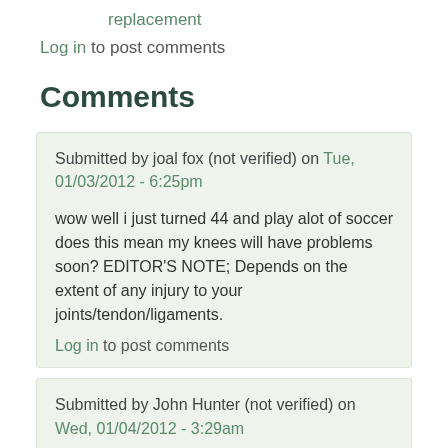replacement
Log in to post comments
Comments
Submitted by joal fox (not verified) on Tue, 01/03/2012 - 6:25pm
wow well i just turned 44 and play alot of soccer does this mean my knees will have problems soon? EDITOR'S NOTE; Depends on the extent of any injury to your joints/tendon/ligaments.
Log in to post comments
Submitted by John Hunter (not verified) on Wed, 01/04/2012 - 3:29am
I don't really understand the title. I do like your